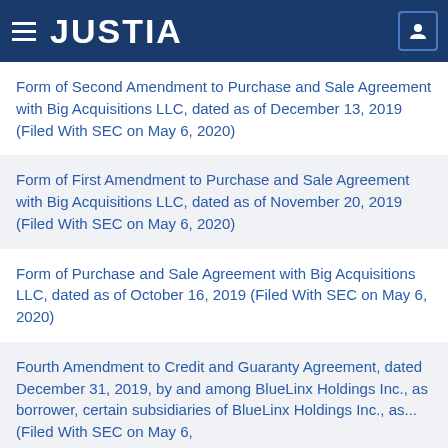JUSTIA
Form of Second Amendment to Purchase and Sale Agreement with Big Acquisitions LLC, dated as of December 13, 2019 (Filed With SEC on May 6, 2020)
Form of First Amendment to Purchase and Sale Agreement with Big Acquisitions LLC, dated as of November 20, 2019 (Filed With SEC on May 6, 2020)
Form of Purchase and Sale Agreement with Big Acquisitions LLC, dated as of October 16, 2019 (Filed With SEC on May 6, 2020)
Fourth Amendment to Credit and Guaranty Agreement, dated December 31, 2019, by and among BlueLinx Holdings Inc., as borrower, certain subsidiaries of BlueLinx Holdings Inc., as... (Filed With SEC on May 6, 2020)